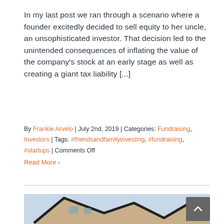In my last post we ran through a scenario where a founder excitedly decided to sell equity to her uncle, an unsophisticated investor. That decision led to the unintended consequences of inflating the value of the company's stock at an early stage as well as creating a giant tax liability [...]
By Frankie Arvelo | July 2nd, 2019 | Categories: Fundraising, Investors | Tags: #friendsandfamilyinvesting, #fundraising, #startups | Comments Off
Read More >
[Figure (photo): Photo of a house roof corner against a light sky background, partially visible at the bottom of the page.]